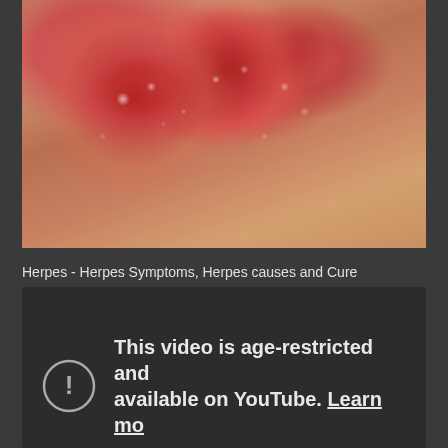[Figure (photo): Close-up medical photograph of skin showing herpetic lesions with redness, blisters, and vesicles on skin tissue]
Herpes - Herpes Symptoms, Herpes causes and Cure
[Figure (screenshot): Age-restricted YouTube video thumbnail showing warning icon and text: 'This video is age-restricted and available on YouTube. Learn mo[re]']